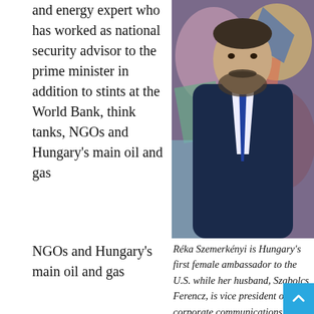and energy expert who has worked as national security advisor to the prime minister in addition to stints at the World Bank, think tanks, NGOs and Hungary's main oil and gas
[Figure (photo): A man in a dark navy suit with a blue tie standing in front of a colorful abstract painting. He has short dark hair and a beard.]
NGOs and Hungary's main oil and gas
Réka Szemerkényi is Hungary's first female ambassador to the U.S. while her husband, Szabolcs Ferencz, is vice president of corporate communications for the oil and gas company